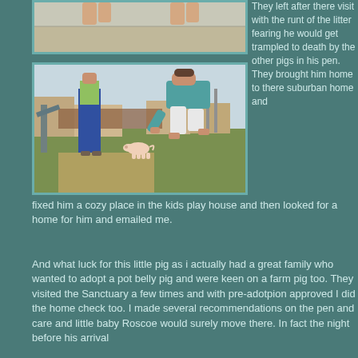[Figure (photo): Top photo showing feet/legs of people standing on pavement outdoors]
[Figure (photo): Woman in teal shirt bending down toward a small pink piglet on grass in a suburban backyard, another person in jeans standing behind]
They left after there visit with the runt of the litter fearing he would get trampled to death by the other pigs in his pen. They brought him home to there suburban home and fixed him a cozy place in the kids play house and then looked for a home for him and emailed me.
And what luck for this little pig as i actually had a great family who wanted to adopt a pot belly pig and were keen on a farm pig too. They visited the Sanctuary a few times and with pre-adotpion approved I did the home check too. I made several recommendations on the pen and care and little baby Roscoe would surely move there. In fact the night before his arrival